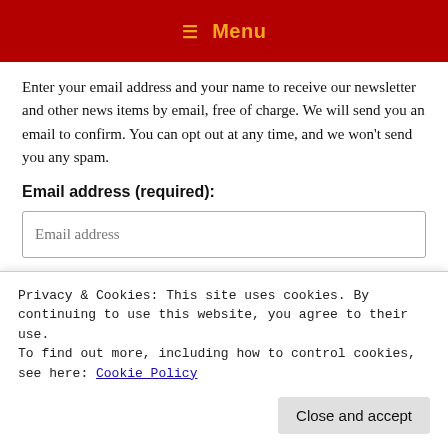☰ Menu
Enter your email address and your name to receive our newsletter and other news items by email, free of charge. We will send you an email to confirm. You can opt out at any time, and we won't send you any spam.
Email address (required):
Email address
Privacy & Cookies: This site uses cookies. By continuing to use this website, you agree to their use.
To find out more, including how to control cookies, see here: Cookie Policy
Close and accept